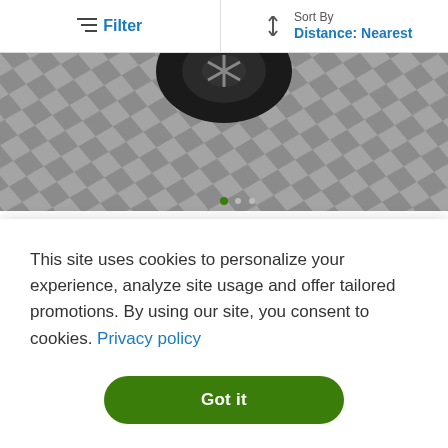Filter | Sort By Distance: Nearest
[Figure (photo): Partial view of a car wheel on a checkered garage floor, viewed from above]
2019 BMW X3 sDrive30i
13K mi | PKLR45583
$35,639
Est. payment
$600 - $672/mo
This site uses cookies to personalize your experience, analyze site usage and offer tailored promotions. By using our site, you consent to cookies. Privacy policy
Got it